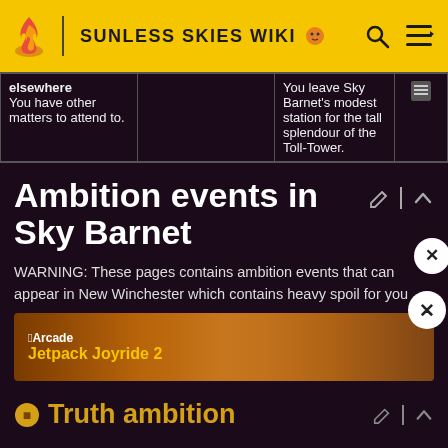SUNLESS SKIES WIKI
| elsewhere |  |  |
| --- | --- | --- |
| You have other matters to attend to. |  | You leave Sky Barnet's modest station for the tall splendour of the Toll-Tower. |
Ambition events in Sky Barnet
WARNING: These pages contains ambition events that can appear in New Winchester which contains heavy spoilers for you
[Figure (screenshot): Apple Arcade advertisement banner for Jetpack Joyride 2]
Truth ambition